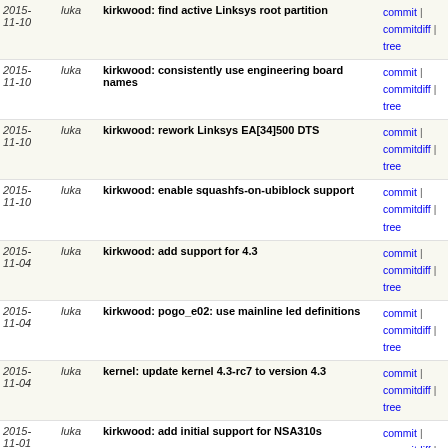| Date | Author | Commit message | Links |
| --- | --- | --- | --- |
| 2015-11-10 | luka | kirkwood: find active Linksys root partition | commit | commitdiff | tree |
| 2015-11-10 | luka | kirkwood: consistently use engineering board names | commit | commitdiff | tree |
| 2015-11-10 | luka | kirkwood: rework Linksys EA[34]500 DTS | commit | commitdiff | tree |
| 2015-11-10 | luka | kirkwood: enable squashfs-on-ubiblock support | commit | commitdiff | tree |
| 2015-11-04 | luka | kirkwood: add support for 4.3 | commit | commitdiff | tree |
| 2015-11-04 | luka | kirkwood: pogo_e02: use mainline led definitions | commit | commitdiff | tree |
| 2015-11-04 | luka | kernel: update kernel 4.3-rc7 to version 4.3 | commit | commitdiff | tree |
| 2015-11-01 | luka | kirkwood: add initial support for NSA310s | commit | commitdiff | tree |
| 2015-11-01 | luka | generic: 3.18: refresh patches | commit | commitdiff | tree |
| 2015-10-31 | luka | uboot-envtools: update to 2015.10 | commit | commitdiff | tree |
| 2015-10-15 | luka | cosmetic: remove trailing whitespaces | commit | commitdiff | tree |
| 2015-10-11 | luka | iperf3: update URL | commit | commitdiff | tree |
| 2015-10-11 | luka | libnl: fix URL | commit | commitdiff | tree |
| 2015- | luka | imx6: fix platform checking | commit |